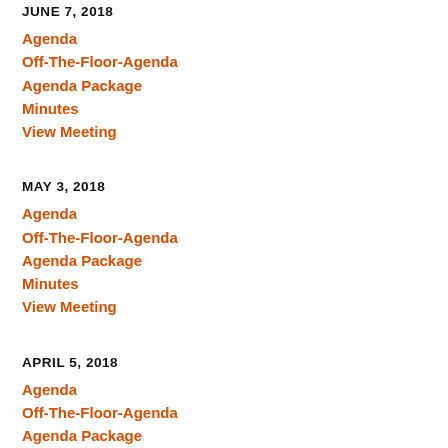JUNE 7, 2018
Agenda
Off-The-Floor-Agenda
Agenda Package
Minutes
View Meeting
MAY 3, 2018
Agenda
Off-The-Floor-Agenda
Agenda Package
Minutes
View Meeting
APRIL 5, 2018
Agenda
Off-The-Floor-Agenda
Agenda Package